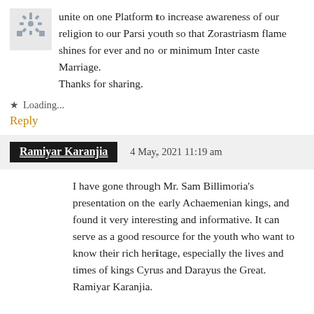unite on one Platform to increase awareness of our religion to our Parsi youth so that Zorastriasm flame shines for ever and no or minimum Inter caste Marriage. Thanks for sharing.
Loading...
Reply
Ramiyar Karanjia   4 May, 2021 11:19 am
I have gone through Mr. Sam Billimoria's presentation on the early Achaemenian kings, and found it very interesting and informative. It can serve as a good resource for the youth who want to know their rich heritage, especially the lives and times of kings Cyrus and Darayus the Great. Ramiyar Karanjia.